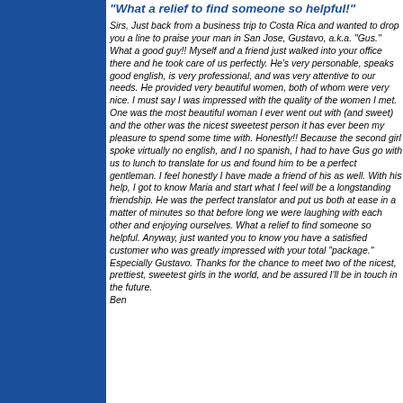[Figure (other): Dark blue sidebar panel on the left side of the page]
"What a relief to find someone so helpful!"
Sirs, Just back from a business trip to Costa Rica and wanted to drop you a line to praise your man in San Jose, Gustavo, a.k.a. "Gus." What a good guy!! Myself and a friend just walked into your office there and he took care of us perfectly. He's very personable, speaks good english, is very professional, and was very attentive to our needs. He provided very beautiful women, both of whom were very nice. I must say I was impressed with the quality of the women I met. One was the most beautiful woman I ever went out with (and sweet) and the other was the nicest sweetest person it has ever been my pleasure to spend some time with. Honestly!! Because the second girl spoke virtually no english, and I no spanish, I had to have Gus go with us to lunch to translate for us and found him to be a perfect gentleman. I feel honestly I have made a friend of his as well. With his help, I got to know Maria and start what I feel will be a longstanding friendship. He was the perfect translator and put us both at ease in a matter of minutes so that before long we were laughing with each other and enjoying ourselves. What a relief to find someone so helpful. Anyway, just wanted you to know you have a satisfied customer who was greatly impressed with your total "package." Especially Gustavo. Thanks for the chance to meet two of the nicest, prettiest, sweetest girls in the world, and be assured I'll be in touch in the future. Ben